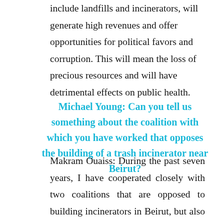include landfills and incinerators, will generate high revenues and offer opportunities for political favors and corruption. This will mean the loss of precious resources and will have detrimental effects on public health.
Michael Young: Can you tell us something about the coalition with which you have worked that opposes the building of a trash incinerator near Beirut?
Makram Ouaiss: During the past seven years, I have cooperated closely with two coalitions that are opposed to building incinerators in Beirut, but also nationwide, as a way of treating municipal solid waste. They are the Lebanon Eco Movement (LEM)